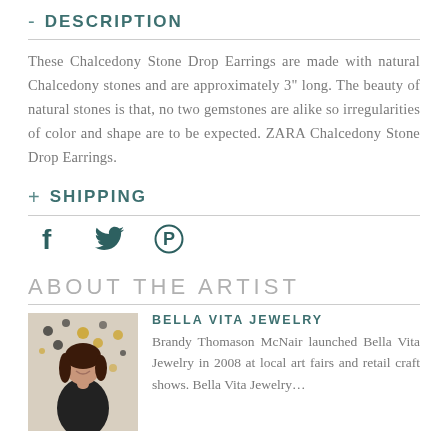- DESCRIPTION
These Chalcedony Stone Drop Earrings are made with natural Chalcedony stones and are approximately 3" long. The beauty of natural stones is that, no two gemstones are alike so irregularities of color and shape are to be expected. ZARA Chalcedony Stone Drop Earrings.
+ SHIPPING
[Figure (other): Social media share icons: Facebook (f), Twitter (bird), Pinterest (P)]
ABOUT THE ARTIST
[Figure (photo): Photo of Brandy Thomason McNair, artist/founder of Bella Vita Jewelry, smiling in a dark top, standing in front of a decorative wall.]
BELLA VITA JEWELRY
Brandy Thomason McNair launched Bella Vita Jewelry in 2008 at local art fairs and retail craft shows. Bella Vita Jewelry...